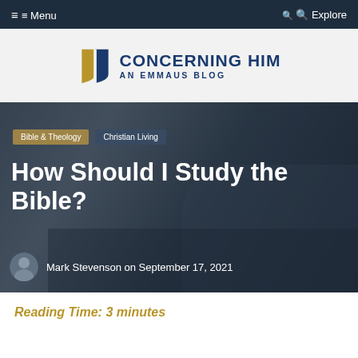Menu   Explore
[Figure (logo): Concerning Him: An Emmaus Blog logo with gold and blue shield icon and text]
[Figure (photo): Hero image of person writing/studying with Bible, overlaid with dark tint, category tags, article title, and author info]
Bible & Theology   Christian Living
How Should I Study the Bible?
Mark Stevenson on September 17, 2021
Reading Time: 3 minutes